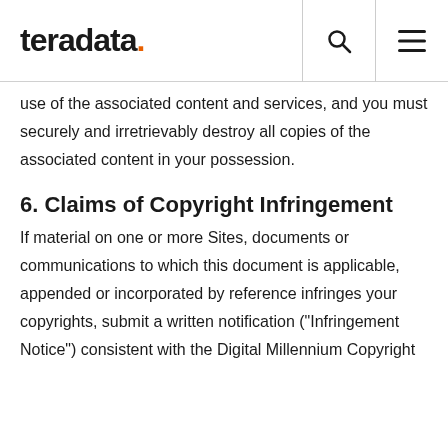teradata.
use of the associated content and services, and you must securely and irretrievably destroy all copies of the associated content in your possession.
6. Claims of Copyright Infringement
If material on one or more Sites, documents or communications to which this document is applicable, appended or incorporated by reference infringes your copyrights, submit a written notification ("Infringement Notice") consistent with the Digital Millennium Copyright